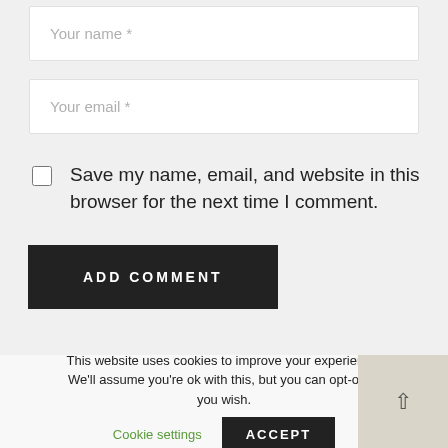[Figure (screenshot): Web form input field with placeholder text 'Your name *']
[Figure (screenshot): Web form input field with placeholder text 'Your email *']
Save my name, email, and website in this browser for the next time I comment.
[Figure (screenshot): Dark button labeled 'ADD COMMENT']
This website uses cookies to improve your experience. We'll assume you're ok with this, but you can opt-out if you wish.
Cookie settings
ACCEPT